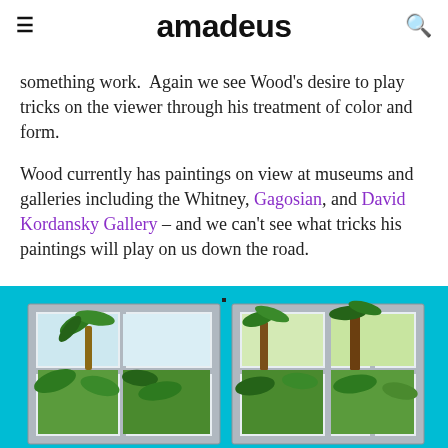amadeus
something work.  Again we see Wood's desire to play tricks on the viewer through his treatment of color and form.
Wood currently has paintings on view at museums and galleries including the Whitney, Gagosian, and David Kordansky Gallery – and we can't see what tricks his paintings will play on us down the road.
[Figure (photo): A painting showing two window frames side by side with tropical vegetation — palm trees and lush green foliage — visible through the glass panes, set against a bright turquoise/cyan background wall.]